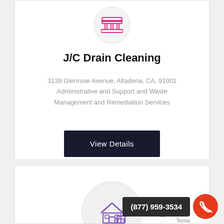[Figure (illustration): Circular icon with a pink/purple drain cleaning or plumbing related icon on light gray circle background]
J/C Drain Cleaning
3139 Glenrose Avenue, Altadena, CA, 91001
Administrative and Support and Waste Management and Remediation Services
View Details
[Figure (illustration): Circular icon with a purple house/building icon on light gray circle background — second business card]
(877) 959-3534